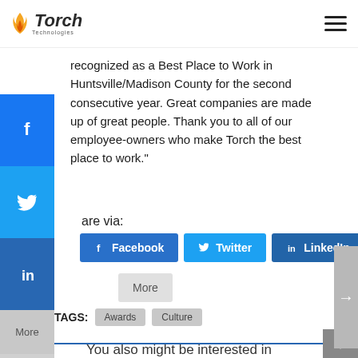Torch Technologies
recognized as a Best Place to Work in Huntsville/Madison County for the second consecutive year. Great companies are made up of great people. Thank you to all of our employee-owners who make Torch the best place to work.”
are via:
[Figure (screenshot): Social share buttons: Facebook, Twitter, LinkedIn, and More]
TAGS: Awards Culture
You also might be interested in